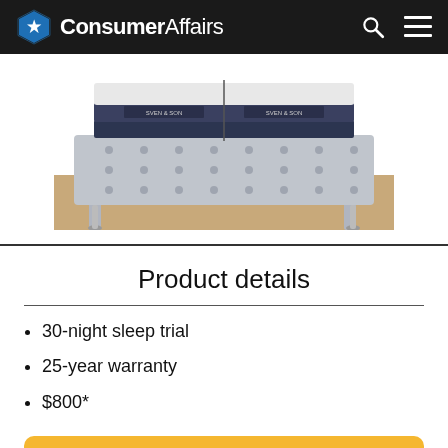ConsumerAffairs
[Figure (photo): A luxury mattress with dark navy pillow-top layers and branded labels reading 'SVEN & SON', displayed on a tufted silver upholstered bed frame with ornate legs on a wood floor]
Product details
30-night sleep trial
25-year warranty
$800*